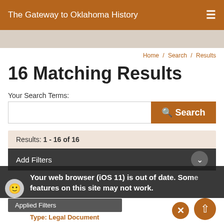The Gateway to Oklahoma History
Home / Search / Results
16 Matching Results
Your Search Terms:
Results: 1 - 16 of 16
Add Filters
Your web browser (iOS 11) is out of date. Some features on this site may not work.
Applied Filters
Type: Legal Document